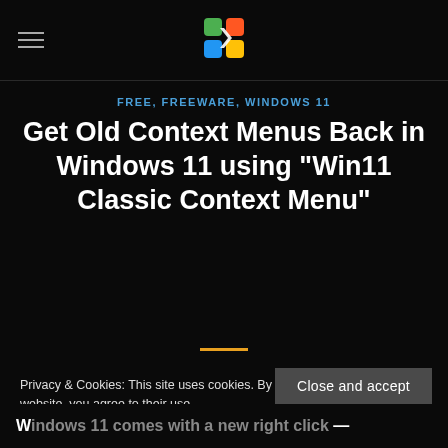FREE, FREEWARE, WINDOWS 11
Get Old Context Menus Back in Windows 11 using “Win11 Classic Context Menu”
Privacy & Cookies: This site uses cookies. By continuing to use this website, you agree to their use.
To find out more, including how to control cookies, see here: Cookie Policy
Close and accept
Windows 11 comes with a new right click —